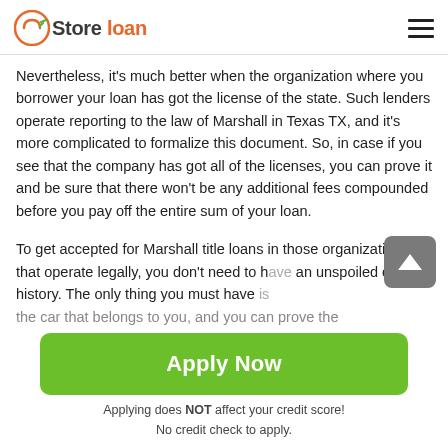Store loan
Nevertheless, it's much better when the organization where you borrower your loan has got the license of the state. Such lenders operate reporting to the law of Marshall in Texas TX, and it's more complicated to formalize this document. So, in case if you see that the company has got all of the licenses, you can prove it and be sure that there won't be any additional fees compounded before you pay off the entire sum of your loan.
To get accepted for Marshall title loans in those organizations that operate legally, you don't need to have an unspoiled credit history. The only thing you must have is the car that belongs to you, and you can prove the
[Figure (other): Green 'Apply Now' button]
Applying does NOT affect your credit score!
No credit check to apply.